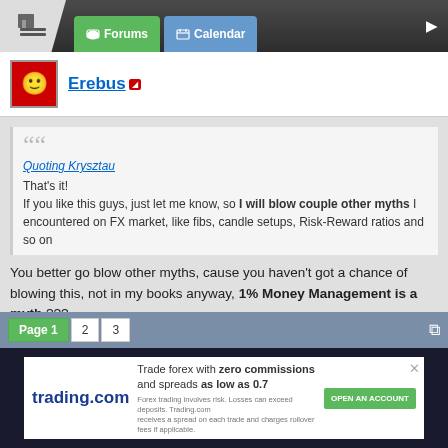Forums  Calendar
Erebus
Quoting Krysztau
That's it!
If you like this guys, just let me know, so I will blow couple other myths I encountered on FX market, like fibs, candle setups, Risk-Reward ratios and so on
You better go blow other myths, cause you haven't got a chance of blowing this, not in my books anyway, 1% Money Management is a myth ???
it's not rocket science, cut the losers at 1% or 2%, let the winners make more than that, DOH
[Figure (screenshot): Attached image thumbnail of a trading chart (dark background)]
Attached Image (click to enlarge)
Page 1  2  3
trading.com  Trade forex with zero commissions and spreads as low as 0.7  Forex trading involves risk. Losses can exceed deposits. Trading.com receives a spread on each trade and charges rollover fees if applicable.  OPEN AN ACCOUNT